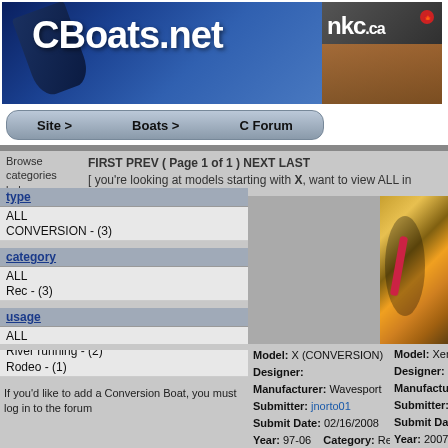[Figure (screenshot): CBoats.net website header with logo and NKC.ca advertisement banner, navigation bar with Site >, Boats >, C Forum links]
Site >   Boats >   C Forum
Browse categories below
type
ALL
CONVERSION - (3)
category
ALL
Rec - (3)
usage
ALL
River running - (2)
Rodeo - (1)
If you'd like to add a Conversion Boat, you must log in to the forum
FIRST PREV ( Page 1 of 1 ) NEXT LAST
[ you're looking at models starting with X, want to view ALL in
[Figure (photo): Gray placeholder area for left boat image (X CONVERSION)]
[Figure (photo): Photo of kayak interior/rigging in orange and yellow - Xeno CONVERSION]
Model: X (CONVERSION)
Designer:
Manufacturer: Wavesport
Submitter: jnorto01
Submit Date: 02/16/2008
Year: 97-06   Category: Rec
Primary Use: River running
Secondary Use: Rodeo
Search for this Boat of the Week
Model: Xeno (CONVERSION)
Designer: Jan Kellner
Manufacturer: Eskimo
Submitter: harald
Submit Date: 05/28/200
Year: 2007   Category:
Primary Use: River runnin
Secondary Use: Wildwate
Search for this Boat of the
Model: XXX (CONVERSION)